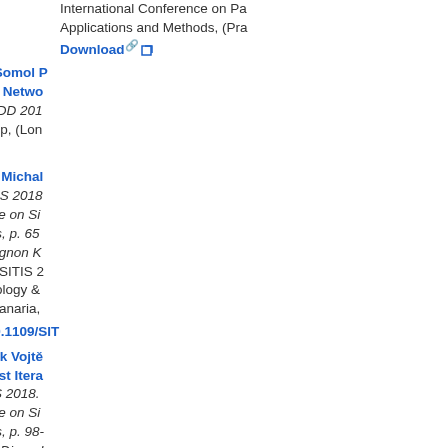International Conference on Pa... Applications and Methods, (Pra...
15. Flusser M., Pevný T., Somol P... Approximating Neural Netwo... Detection , ACM SIGKDD 201... SIGKDD 2018 Workshop, (Lon... Download DOI:
16. Kudělka Miloš, Haindl Michal... Fidelity Measure , SITIS 2018... International Conference on Si... Internet-Based Systems, p. 65... Baja G., Gallo L., Yetongnon K... Santana M., Chbeir R., SITIS 2... on Signal Image Technology &... (Las Palmas de Gran Canaria,... Download DOI: 10.1109/SIT...
17. Haindl Michal, Havlíček Vojt... Texture Model with Fast Itera... Field Synthesis , SITIS 2018.... International Conference on Si... Internet-Based Systems, p. 98-... Gallo L., Yetongnon K., Dipand... Chbeir R., SITIS 2018. Internat... Image Technology & Internet B... Palmas de Gran Canaria, ES, 2... Download DOI: 10.1109/SIT...
18. Filip Jiří, Maile F. J. : In the s... measurement geometry for e... of Pigment and Colour Science...